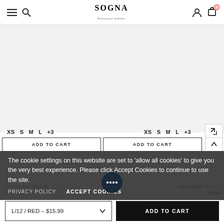SOGNA Discover better — navigation header with menu, search, account, and cart (0)
[Figure (screenshot): E-commerce product listing page showing two product thumbnails with size selectors (XS S M L +3) and ADD TO CART buttons, overlaid with a cookie consent banner and a bottom variant/add-to-cart bar.]
The cookie settings on this website are set to 'allow all cookies' to give you the very best experience. Please click Accept Cookies to continue to use the site.
PRIVACY POLICY   ACCEPT COOKIES
Spun Cotton Edge N...   $15.40  $9.99
...otton Basic Tee 4...   $9.99
L/12 / RED – $15.99   ADD TO CART